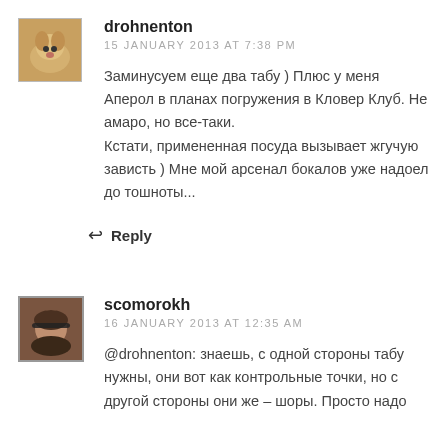[Figure (photo): Avatar image of a dog (light brown/white puppy)]
drohnenton
15 JANUARY 2013 AT 7:38 PM
Заминусуем еще два табу ) Плюс у меня Аперол в планах погружения в Кловер Клуб. Не амаро, но все-таки.
Кстати, примененная посуда вызывает жгучую зависть ) Мне мой арсенал бокалов уже надоел до тошноты...
Reply
[Figure (photo): Avatar image of a person wearing sunglasses]
scomorokh
16 JANUARY 2013 AT 12:35 AM
@drohnenton: знаешь, с одной стороны табу нужны, они вот как контрольные точки, но с другой стороны они же – шоры. Просто надо